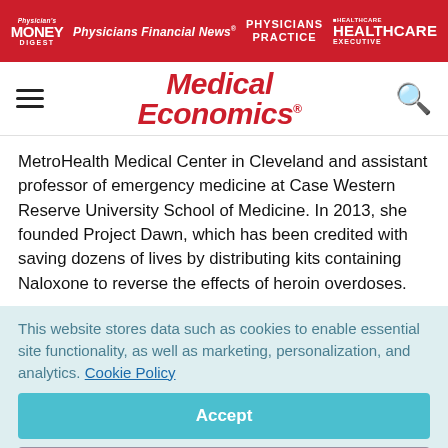Physician's Money Digest | Physicians Financial News | Physicians Practice | Healthcare Executive
[Figure (logo): Medical Economics logo with red italic text]
MetroHealth Medical Center in Cleveland and assistant professor of emergency medicine at Case Western Reserve University School of Medicine. In 2013, she founded Project Dawn, which has been credited with saving dozens of lives by distributing kits containing Naloxone to reverse the effects of heroin overdoses.
This website stores data such as cookies to enable essential site functionality, as well as marketing, personalization, and analytics. Cookie Policy
Accept
Deny